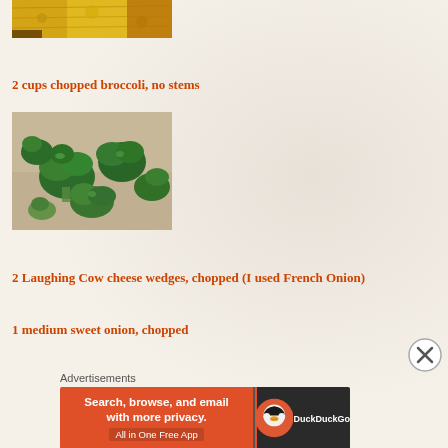[Figure (photo): Top portion of a dish with yellow/golden crumbled topping, partially cropped]
2 cups chopped broccoli, no stems
[Figure (photo): Chopped fresh broccoli florets with no stems on a light surface]
2 Laughing Cow cheese wedges, chopped (I used French Onion)
1 medium sweet onion, chopped
Advertisements
[Figure (screenshot): DuckDuckGo advertisement banner: Search, browse, and email with more privacy. All in One Free App]